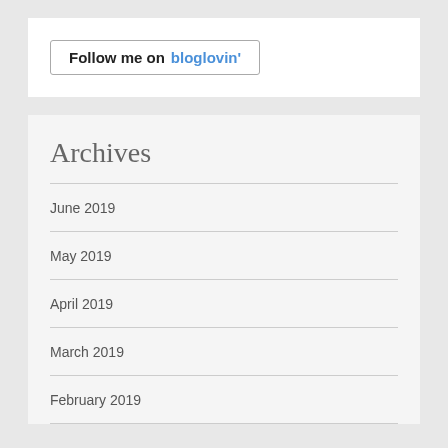[Figure (other): Follow me on bloglovin' button widget with border]
Archives
June 2019
May 2019
April 2019
March 2019
February 2019